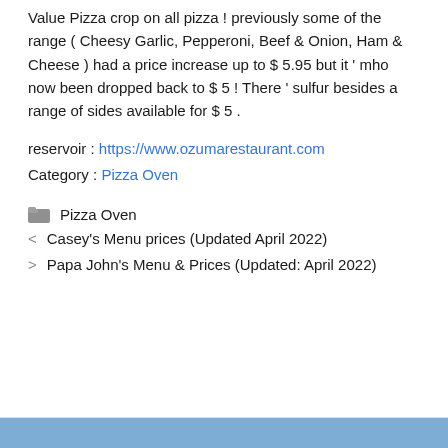Value Pizza crop on all pizza ! previously some of the range ( Cheesy Garlic, Pepperoni, Beef & Onion, Ham & Cheese ) had a price increase up to $ 5.95 but it ' mho now been dropped back to $ 5 ! There ' sulfur besides a range of sides available for $ 5 .
reservoir : https://www.ozumarestaurant.com
Category : Pizza Oven
Pizza Oven
< Casey's Menu prices (Updated April 2022)
> Papa John's Menu & Prices (Updated: April 2022)